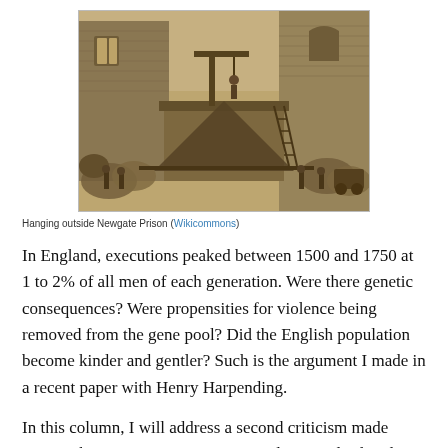[Figure (illustration): Historical engraving of a public hanging outside Newgate Prison, showing a gallows platform elevated above a crowd of spectators, with prison brick walls in the background and a large wooden structure.]
Hanging outside Newgate Prison (Wikicommons)
In England, executions peaked between 1500 and 1750 at 1 to 2% of all men of each generation. Were there genetic consequences? Were propensities for violence being removed from the gene pool? Did the English population become kinder and gentler? Such is the argument I made in a recent paper with Henry Harpending.
In this column, I will address a second criticism made against this argument: Many executed criminals already had children, so...